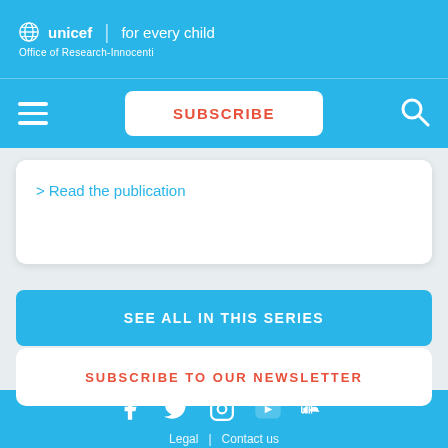unicef for every child | Office of Research-Innocenti
[Figure (screenshot): UNICEF unicef logo globe icon with for every child text and Office of Research-Innocenti subtitle in white on blue background]
SUBSCRIBE (button)
> Read the publication
SEE ALL IN THIS SERIES
SUBSCRIBE TO OUR NEWSLETTER
Legal | Contact us